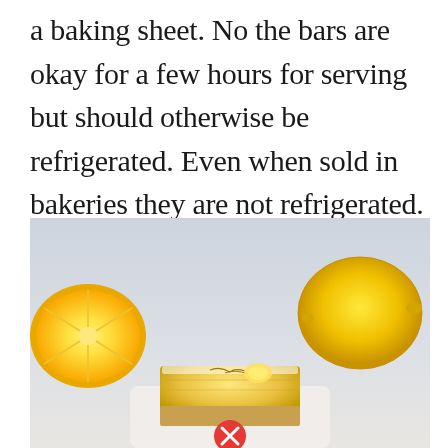a baking sheet. No the bars are okay for a few hours for serving but should otherwise be refrigerated. Even when sold in bakeries they are not refrigerated. Classic Lemon Bars. 1 teaspoon fresh lemon zest.
[Figure (photo): Photo of lemon bars dusted with powdered sugar, with a whole lemon and a halved lemon in the background on a light grey surface. A red circle with a white X close button is overlaid at the bottom center of the image.]